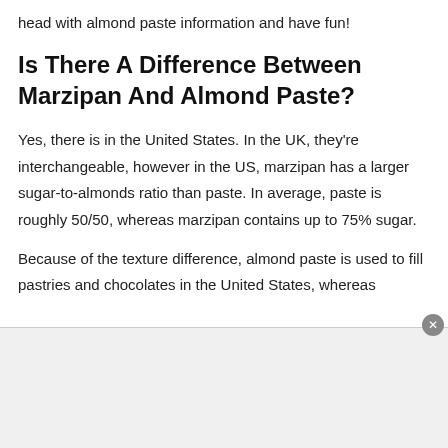head with almond paste information and have fun!
Is There A Difference Between Marzipan And Almond Paste?
Yes, there is in the United States. In the UK, they're interchangeable, however in the US, marzipan has a larger sugar-to-almonds ratio than paste. In average, paste is roughly 50/50, whereas marzipan contains up to 75% sugar.
Because of the texture difference, almond paste is used to fill pastries and chocolates in the United States, whereas